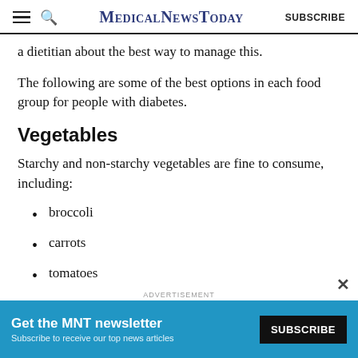MedicalNewsToday — SUBSCRIBE
a dietitian about the best way to manage this.
The following are some of the best options in each food group for people with diabetes.
Vegetables
Starchy and non-starchy vegetables are fine to consume, including:
broccoli
carrots
tomatoes